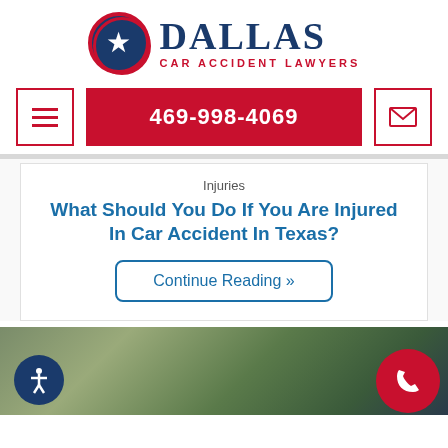[Figure (logo): Dallas Car Accident Lawyers logo with Texas flag star circle and text]
469-998-4069
Injuries
What Should You Do If You Are Injured In Car Accident In Texas?
Continue Reading »
[Figure (photo): Blurred photo of motorcycle and person holding phone at bottom of page]